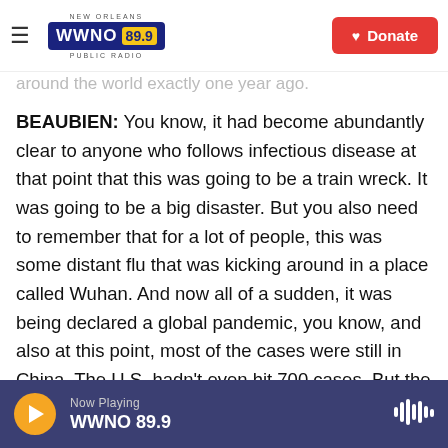NEW ORLEANS WWNO 89.9 PUBLIC RADIO | Donate
around the world exactly one year ago.
BEAUBIEN: You know, it had become abundantly clear to anyone who follows infectious disease at that point that this was going to be a train wreck. It was going to be a big disaster. But you also need to remember that for a lot of people, this was some distant flu that was kicking around in a place called Wuhan. And now all of a sudden, it was being declared a global pandemic, you know, and also at this point, most of the cases were still in China. The U.S. hadn't even hit 700 cases. But the genie was out of the bottle at that point. And the world was heading towards a health crisis on a scale that no
Now Playing WWNO 89.9